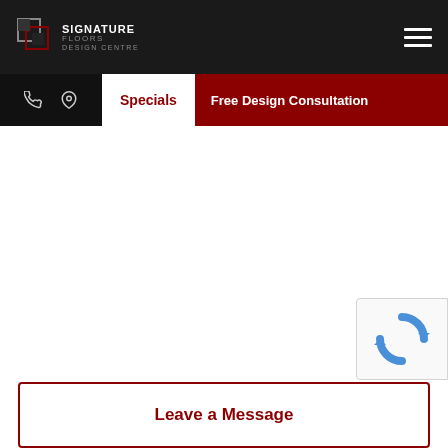[Figure (logo): Signature Floors Design Centre logo with icon on dark background]
[Figure (other): Hamburger menu icon (three horizontal white lines) on dark background]
Specials | Free Design Consultation
[Figure (other): reCAPTCHA widget partially visible in bottom right corner]
Leave a Message